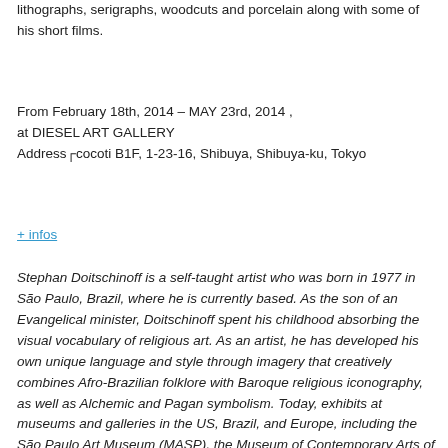lithographs, serigraphs, woodcuts and porcelain along with some of his short films.
From February 18th, 2014 – MAY 23rd, 2014 , at DIESEL ART GALLERY Address cocoti B1F, 1-23-16, Shibuya, Shibuya-ku, Tokyo
+ infos
Stephan Doitschinoff is a self-taught artist who was born in 1977 in São Paulo, Brazil, where he is currently based. As the son of an Evangelical minister, Doitschinoff spent his childhood absorbing the visual vocabulary of religious art. As an artist, he has developed his own unique language and style through imagery that creatively combines Afro-Brazilian folklore with Baroque religious iconography, as well as Alchemic and Pagan symbolism. Today, exhibits at museums and galleries in the US, Brazil, and Europe, including the São Paulo Art Museum (MASP), the Museum of Contemporary Arts of San Diego (MACSD) or